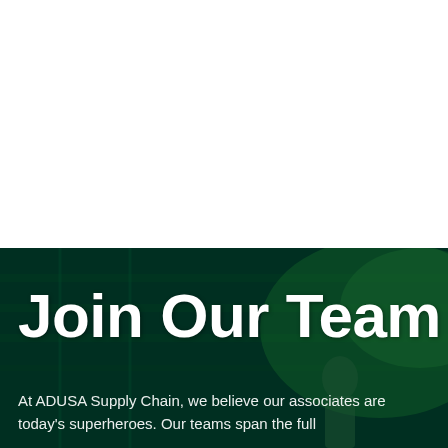[Figure (photo): Dark green tinted photo banner showing warehouse/supply chain workers in the background, serving as the background for the 'Join Our Team' section.]
Join Our Team
At ADUSA Supply Chain, we believe our associates are today's superheroes. Our teams span the full